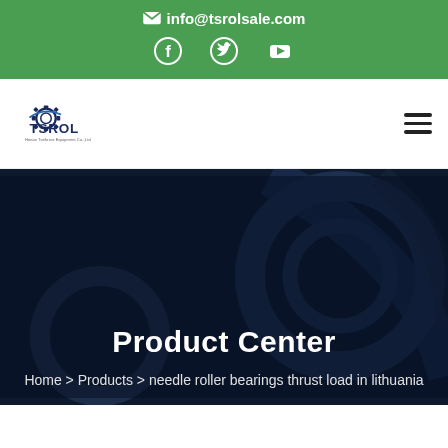✉ info@tsrolsale.com
[Figure (logo): TSROL company logo with gear icon and company name]
Product Center
Home > Products > needle roller bearings thrust load in lithuania